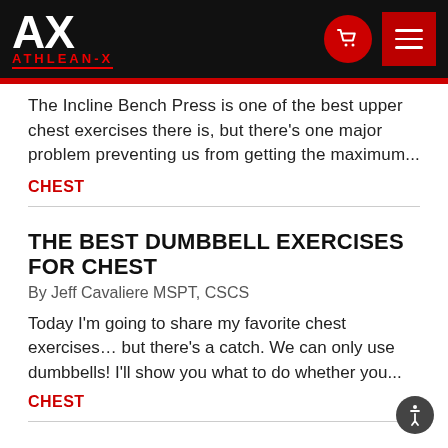[Figure (screenshot): Athlean-X website header with logo, cart button, and menu button]
The Incline Bench Press is one of the best upper chest exercises there is, but there's one major problem preventing us from getting the maximum...
CHEST
THE BEST DUMBBELL EXERCISES FOR CHEST
By Jeff Cavaliere MSPT, CSCS
Today I'm going to share my favorite chest exercises… but there's a catch. We can only use dumbbells! I'll show you what to do whether you...
CHEST
THE PERFECT CHEST WORKOUT
By Jeff Cavaliere MSPT, CSCS